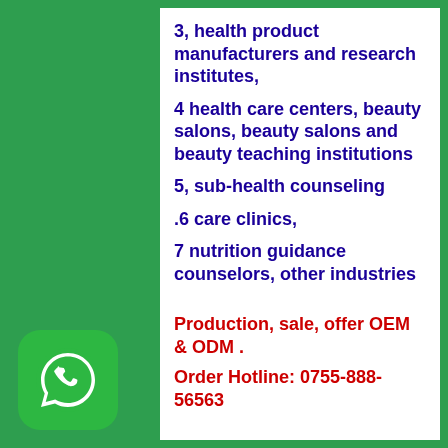3, health product manufacturers and research institutes,
4 health care centers, beauty salons, beauty salons and beauty teaching institutions
5, sub-health counseling
.6 care clinics,
7 nutrition guidance counselors, other industries
Production, sale, offer OEM & ODM .
Order Hotline: 0755-888-56563
[Figure (logo): WhatsApp logo icon with white phone handset on green rounded square background]